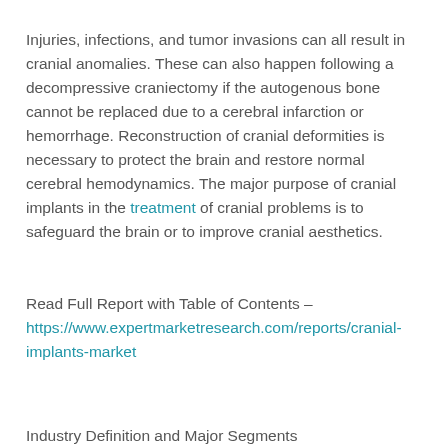Injuries, infections, and tumor invasions can all result in cranial anomalies. These can also happen following a decompressive craniectomy if the autogenous bone cannot be replaced due to a cerebral infarction or hemorrhage. Reconstruction of cranial deformities is necessary to protect the brain and restore normal cerebral hemodynamics. The major purpose of cranial implants in the treatment of cranial problems is to safeguard the brain or to improve cranial aesthetics.
Read Full Report with Table of Contents – https://www.expertmarketresearch.com/reports/cranial-implants-market
Industry Definition and Major Segments